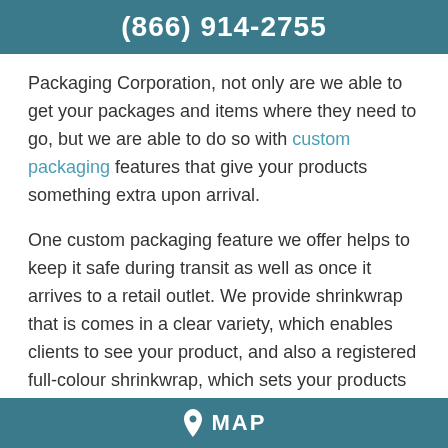(866) 914-2755
Packaging Corporation, not only are we able to get your packages and items where they need to go, but we are able to do so with custom packaging features that give your products something extra upon arrival.
One custom packaging feature we offer helps to keep it safe during transit as well as once it arrives to a retail outlet. We provide shrinkwrap that is comes in a clear variety, which enables clients to see your product, and also a registered full-colour shrinkwrap, which sets your products apart from others before it has even been opened yet!
MAP